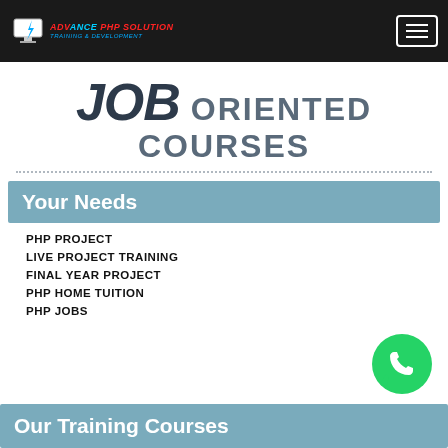ADVANCE PHP SOLUTION TRAINING & DEVELOPMENT — navigation bar with hamburger menu
JOB ORIENTED COURSES
Your Needs
PHP PROJECT
LIVE PROJECT TRAINING
FINAL YEAR PROJECT
PHP HOME TUITION
PHP JOBS
Our Training Courses